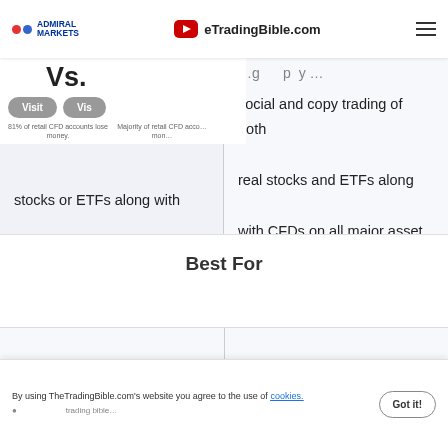Admiral Markets Vs. [broker] | TheTradingBible.com
stocks or ETFs along with MetaTrader 4 & 5.
social and copy trading of both real stocks and ETFs along with CFDs on all major asset classes.
Best For
By using TheTradingBible.com's website you agree to the use of cookies.